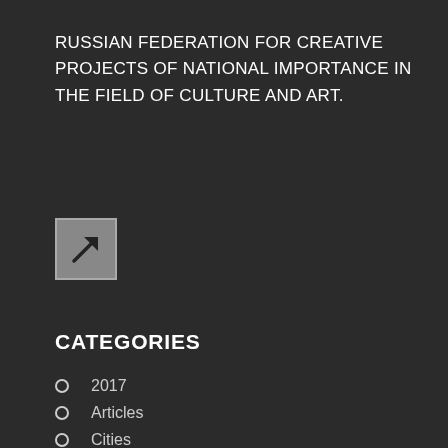RUSSIAN FEDERATION FOR CREATIVE PROJECTS OF NATIONAL IMPORTANCE IN THE FIELD OF CULTURE AND ART.
[Figure (illustration): A square icon with an arrow pointing to the upper right, on a grey background]
CATEGORIES
2017
Articles
Cities
Destinations
Entertainment
Epicurean
Events
FAN ID